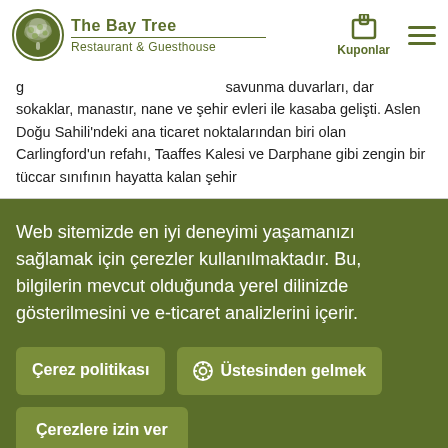The Bay Tree Restaurant & Guesthouse — Kuponlar
g... savunma duvarları, dar sokaklar, manastır, nane ve şehir evleri ile kasaba gelişti. Aslen Doğu Sahili'ndeki ana ticaret noktalarından biri olan Carlingford'un refahı, Taaffes Kalesi ve Darphanе gibi zengin bir tüccar sınıfının hayatta kalan şehir
Web sitemizde en iyi deneyimi yaşamanızı sağlamak için çerezler kullanılmaktadır. Bu, bilgilerin mevcut olduğunda yerel dilinizde gösterilmesini ve e-ticaret analizlerini içerir.
Çerez politikası
Üstesinden gelmek
Çerezlere izin ver